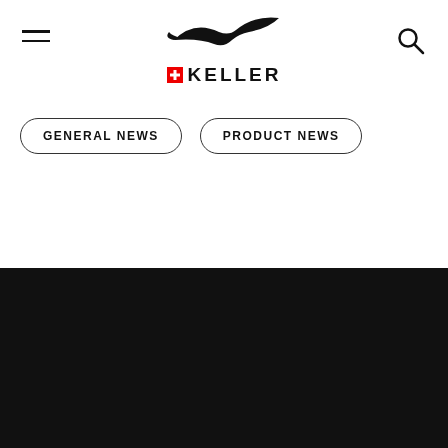Keller website navigation header with hamburger menu, Keller logo (bird + Swiss flag + KELLER), and search icon
GENERAL NEWS
PRODUCT NEWS
We use cookies, please read more under our policies.
OKAY